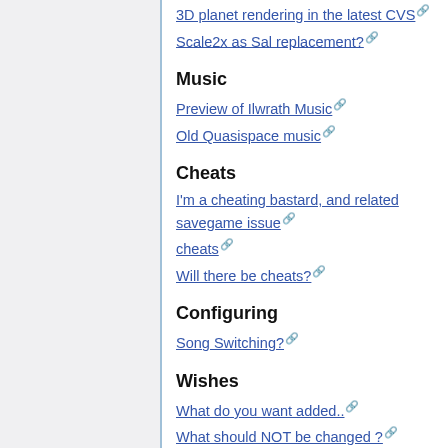3D planet rendering in the latest CVS
Scale2x as Sal replacement?
Music
Preview of Ilwrath Music
Old Quasispace music
Cheats
I'm a cheating bastard, and related savegame issue
cheats
Will there be cheats?
Configuring
Song Switching?
Wishes
What do you want added..
What should NOT be changed ?